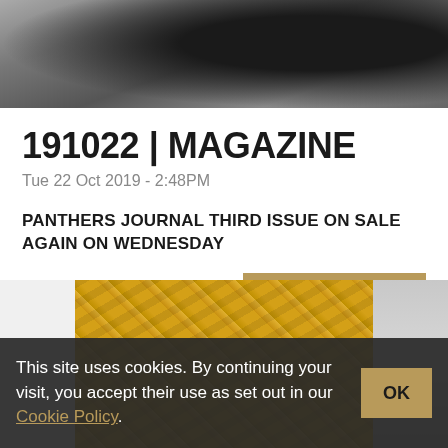[Figure (photo): Dark moody photo showing abstract metallic or turbine-like shapes in grayscale with a person partially visible at the right edge]
191022 | MAGAZINE
Tue 22 Oct 2019 - 2:48PM
PANTHERS JOURNAL THIRD ISSUE ON SALE AGAIN ON WEDNESDAY
READ MORE
[Figure (photo): Photo of yellow and gold merchandise items (bags/pouches) with blue panther logos, piled together with clear plastic packaging visible on the right]
This site uses cookies. By continuing your visit, you accept their use as set out in our Cookie Policy.